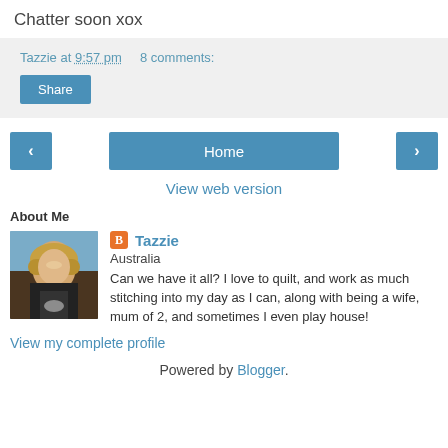Chatter soon xox
Tazzie at 9:57 pm   8 comments:
Share
[Figure (screenshot): Navigation row with left arrow button, Home button, and right arrow button]
View web version
About Me
[Figure (photo): Profile photo of Tazzie, a woman with blonde hair wearing a black top and necklace]
Tazzie
Australia
Can we have it all? I love to quilt, and work as much stitching into my day as I can, along with being a wife, mum of 2, and sometimes I even play house!
View my complete profile
Powered by Blogger.